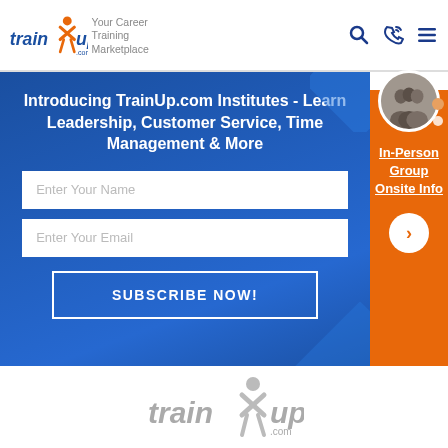[Figure (logo): TrainUp.com logo with orange figure and blue text]
Your Career Training Marketplace
Introducing TrainUp.com Institutes - Learn Leadership, Customer Service, Time Management & More
Enter Your Name
Enter Your Email
SUBSCRIBE NOW!
[Figure (photo): Group of people smiling, circular crop]
In-Person Group Onsite Info
[Figure (logo): TrainUp.com logo in gray, footer version]